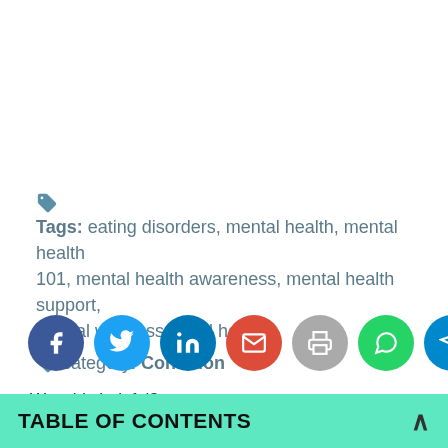Tags: eating disorders, mental health, mental health 101, mental health awareness, mental health support, mental wellness, mind help
category: Condition
[Figure (infographic): Row of 7 circular social share buttons: Facebook (dark blue), Twitter (light blue), LinkedIn (blue), Email (red), Print (grey), WhatsApp (green), Telegram (light blue)]
Was this helpful?
TABLE OF CONTENTS